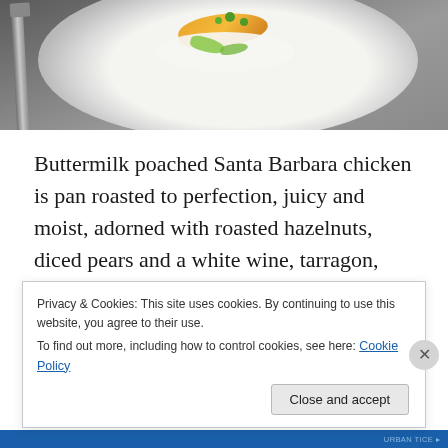[Figure (photo): Overhead photo of a gourmet plated dish on a white plate — appears to show poached chicken with orange/yellow component, green herb dots, and creamy sauce. A knife is visible on the left edge. Dark grey background.]
Buttermilk poached Santa Barbara chicken is pan roasted to perfection, juicy and moist, adorned with roasted hazelnuts, diced pears and a white wine, tarragon, vinegar and champagne sauce.  There is something distinctly creamy and robust about the cauliflower pureé, and we
Privacy & Cookies: This site uses cookies. By continuing to use this website, you agree to their use.
To find out more, including how to control cookies, see here: Cookie Policy
Close and accept